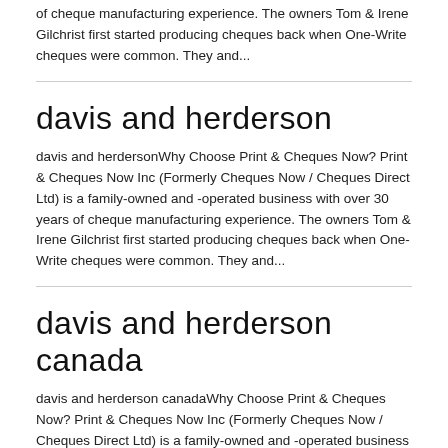of cheque manufacturing experience. The owners Tom & Irene Gilchrist first started producing cheques back when One-Write cheques were common. They and...
davis and herderson
davis and herdersonWhy Choose Print & Cheques Now? Print & Cheques Now Inc (Formerly Cheques Now / Cheques Direct Ltd) is a family-owned and -operated business with over 30 years of cheque manufacturing experience. The owners Tom & Irene Gilchrist first started producing cheques back when One-Write cheques were common. They and...
davis and herderson canada
davis and herderson canadaWhy Choose Print & Cheques Now? Print & Cheques Now Inc (Formerly Cheques Now / Cheques Direct Ltd) is a family-owned and -operated business with over 30 years of cheque manufacturing experience. The owners Tom & Irene Gilchrist first started